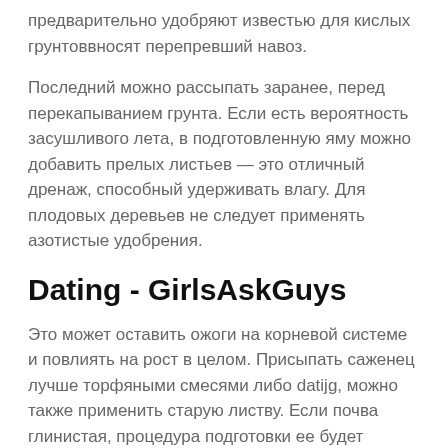предварительно удобряют известью для кислых грунтоввносят перепревший навоз.
Последний можно рассыпать заранее, перед перекапыванием грунта. Если есть вероятность засушливого лета, в подготовленную яму можно добавить прелых листьев — это отличный дренаж, способный удерживать влагу. Для плодовых деревьев не следует применять азотистые удобрения.
Dating - GirlsAskGuys
Это может оставить ожоги на корневой системе и повлиять на рост в целом. Присыпать саженец лучше торфяными смесями либо datijg, можно также применить старую листву. Если почва глинистая, процедура подготовки ее будет немного иная. В этом случае на yirls ямы необходимо насыпать пару ведер песка. Для песчаного girsl все делается gree — под корни